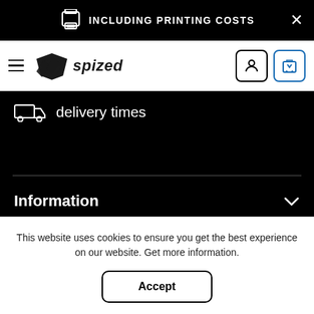INCLUDING PRINTING COSTS
[Figure (logo): Spized logo with stylized arrow/shield icon and text 'spized']
delivery times
Information
Types of sport
This website uses cookies to ensure you get the best experience on our website. Get more information.
Accept